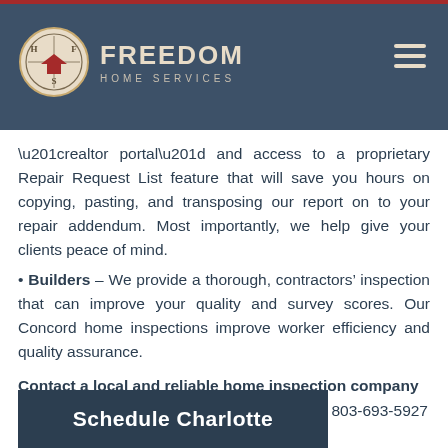Freedom Home Services
“realtor portal” and access to a proprietary Repair Request List feature that will save you hours on copying, pasting, and transposing our report on to your repair addendum. Most importantly, we help give your clients peace of mind.
Builders – We provide a thorough, contractors’ inspection that can improve your quality and survey scores. Our Concord home inspections improve worker efficiency and quality assurance.
Contact a local and reliable home inspection company in Concord, North Carolina now by calling 803-693-5927 or schedule your inspection here:
[Figure (other): Dark navy blue button/banner with text 'Schedule Charlotte']